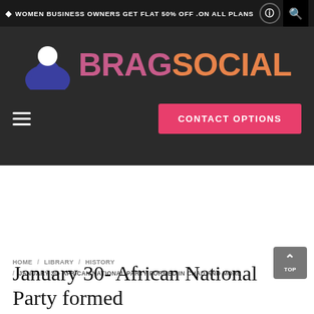♦ WOMEN BUSINESS OWNERS GET FLAT 50% OFF .ON ALL PLANS
[Figure (logo): Brag Social logo: dark silhouette figure with white circle head, text 'BRAG SOCIAL' in pink and orange]
CONTACT OPTIONS
HOME / LIBRARY / HISTORY / JANUARY 30- AFRICAN NATIONAL PARTY FORMED IN CHAD AND MORE
January 30- African National Party formed